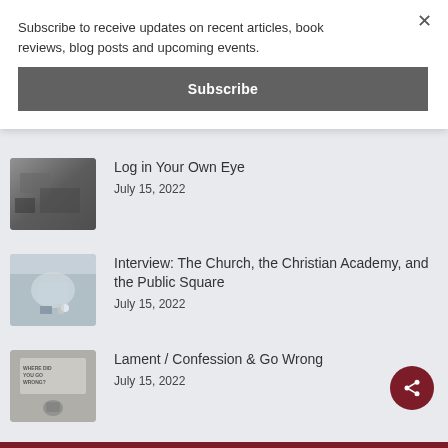Subscribe to receive updates on recent articles, book reviews, blog posts and upcoming events.
Subscribe
Log in Your Own Eye
July 15, 2022
[Figure (photo): Black and white photo of a burning or destroyed scene]
Interview: The Church, the Christian Academy, and the Public Square
July 15, 2022
[Figure (photo): Photo of a person working at a laptop with coffee cup and small plant on a table]
Lament / Confession & Go Wrong
July 15, 2022
[Figure (photo): Black and white photo with text sign reading WHERE DID YOU GO WRONG with a figure sitting below]